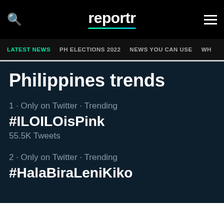reportr
LATEST NEWS  PH ELECTIONS 2022  NEWS YOU CAN USE  WH...
Philippines trends
1 · Only on Twitter · Trending
#ILOILOisPink
55.5K Tweets
2 · Only on Twitter · Trending
#HalaBiraLeniKiko